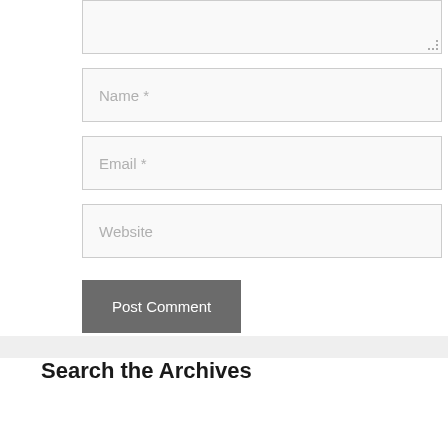[Figure (screenshot): Textarea input box (empty, with resize handle) at top of page]
Name *
Email *
Website
Post Comment
Search the Archives